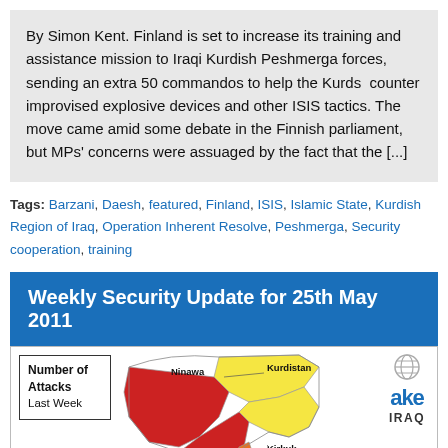By Simon Kent. Finland is set to increase its training and assistance mission to Iraqi Kurdish Peshmerga forces, sending an extra 50 commandos to help the Kurds counter improvised explosive devices and other ISIS tactics. The move came amid some debate in the Finnish parliament, but MPs' concerns were assuaged by the fact that the [...]
Tags: Barzani, Daesh, featured, Finland, ISIS, Islamic State, Kurdish Region of Iraq, Operation Inherent Resolve, Peshmerga, Security cooperation, training
Weekly Security Update for 25th May 2011
[Figure (map): Map of Iraq showing Number of Attacks Last Week by region. Regions shown include Ninawa, Kurdistan, Kirkuk. Colors indicate attack levels (red = high, yellow = lower). AKE IRAQ logo with globe icon in top right.]